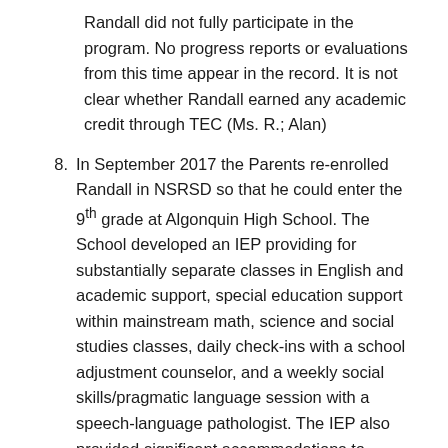Randall did not fully participate in the program. No progress reports or evaluations from this time appear in the record. It is not clear whether Randall earned any academic credit through TEC (Ms. R.; Alan)
In September 2017 the Parents re-enrolled Randall in NSRSD so that he could enter the 9th grade at Algonquin High School. The School developed an IEP providing for substantially separate classes in English and academic support, special education support within mainstream math, science and social studies classes, daily check-ins with a school adjustment counselor, and a weekly social skills/pragmatic language session with a speech-language pathologist. The IEP also provided significant accommodations to scheduling, teaching methodologies and production and testing demands